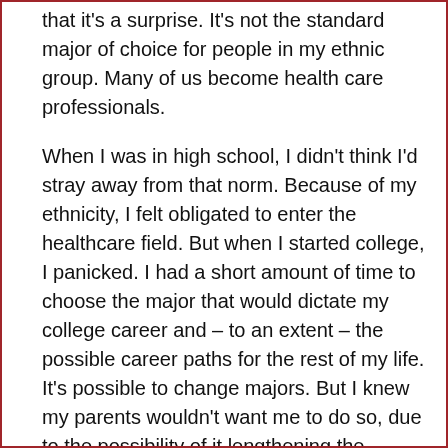that it's a surprise. It's not the standard major of choice for people in my ethnic group. Many of us become health care professionals.
When I was in high school, I didn't think I'd stray away from that norm. Because of my ethnicity, I felt obligated to enter the healthcare field. But when I started college, I panicked. I had a short amount of time to choose the major that would dictate my college career and – to an extent – the possible career paths for the rest of my life. It's possible to change majors. But I knew my parents wouldn't want me to do so, due to the possibility of it lengthening the amount of time it would take for me to graduate. So, my first major was going to be my only major.
As it settles in that I will receive a degree in journalism